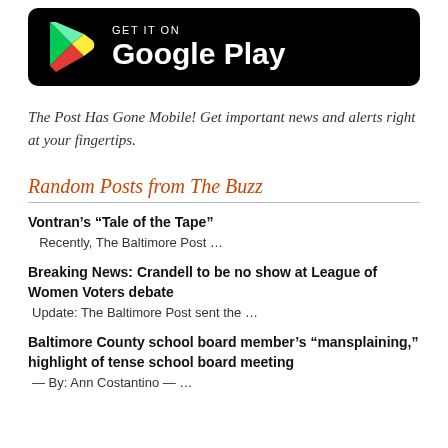[Figure (logo): Google Play badge: black rounded rectangle with Play Store triangle logo (green, yellow, red) and text 'GET IT ON Google Play' in white]
The Post Has Gone Mobile! Get important news and alerts right at your fingertips.
Random Posts from The Buzz
Vontran's “Tale of the Tape”
  Recently, The Baltimore Post …
Breaking News: Crandell to be no show at League of Women Voters debate
Update: The Baltimore Post sent the …
Baltimore County school board member’s “mansplaining,” highlight of tense school board meeting
— By: Ann Costantino — …